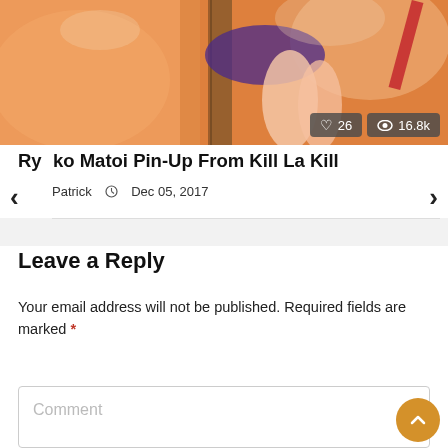[Figure (illustration): Anime-style illustration of Ryuko Matoi in a purple outfit sitting on a wooden post against an orange/peach background. Overlay badges show 26 likes and 16.8k views.]
Ryuko Matoi Pin-Up From Kill La Kill
Patrick  Dec 05, 2017
Leave a Reply
Your email address will not be published. Required fields are marked *